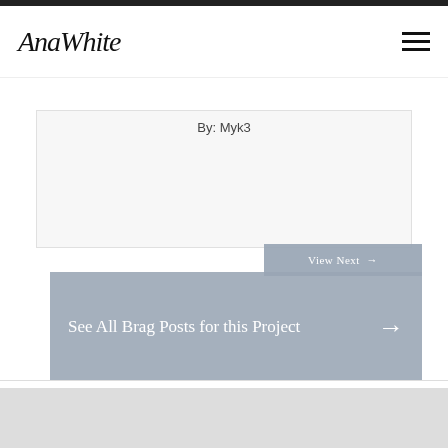AnaWhite
By: Myk3
View Next →
See All Brag Posts for this Project →
[Figure (photo): Light gray/white background image at bottom of page]